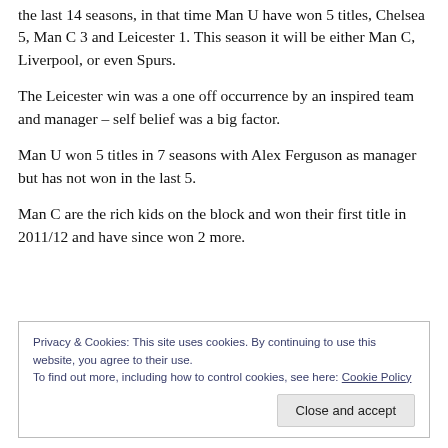the last 14 seasons, in that time Man U have won 5 titles, Chelsea 5, Man C 3 and Leicester 1. This season it will be either Man C, Liverpool, or even Spurs.
The Leicester win was a one off occurrence by an inspired team and manager – self belief was a big factor.
Man U won 5 titles in 7 seasons with Alex Ferguson as manager but has not won in the last 5.
Man C are the rich kids on the block and won their first title in 2011/12 and have since won 2 more.
Privacy & Cookies: This site uses cookies. By continuing to use this website, you agree to their use.
To find out more, including how to control cookies, see here: Cookie Policy
Close and accept